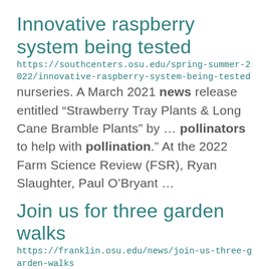Innovative raspberry system being tested
https://southcenters.osu.edu/spring-summer-2022/innovative-raspberry-system-being-tested
nurseries. A March 2021 news release entitled “Strawberry Tray Plants & Long Cane Bramble Plants” by ... pollinators to help with pollination.” At the 2022 Farm Science Review (FSR), Ryan Slaughter, Paul O’Bryant ...
Join us for three garden walks
https://franklin.osu.edu/news/join-us-three-garden-walks
We'd like to invite you to join Tim